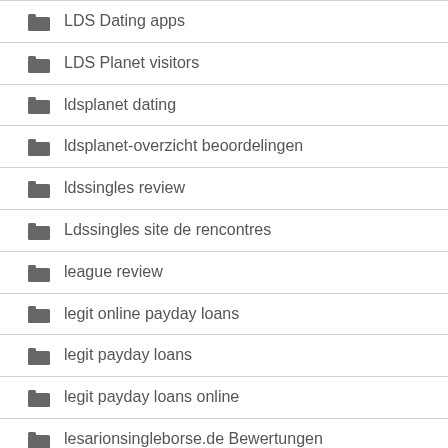LDS Dating apps
LDS Planet visitors
ldsplanet dating
ldsplanet-overzicht beoordelingen
ldssingles review
Ldssingles site de rencontres
league review
legit online payday loans
legit payday loans
legit payday loans online
lesarionsingleborse.de Bewertungen
lesbian-dating-san-antonio-texas reviews